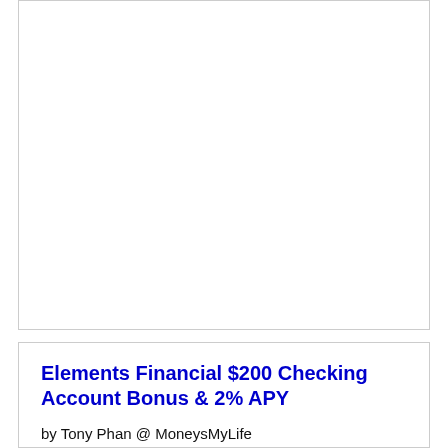[Figure (other): Empty white card/box area at the top of the page, likely a placeholder for an image or advertisement]
Elements Financial $200 Checking Account Bonus & 2% APY
by Tony Phan @ MoneysMyLife